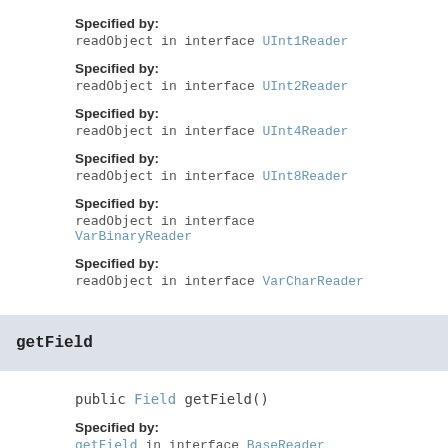Specified by:
readObject in interface UInt1Reader
Specified by:
readObject in interface UInt2Reader
Specified by:
readObject in interface UInt4Reader
Specified by:
readObject in interface UInt8Reader
Specified by:
readObject in interface VarBinaryReader
Specified by:
readObject in interface VarCharReader
getField
public Field getField()
Specified by:
getField in interface BaseReader